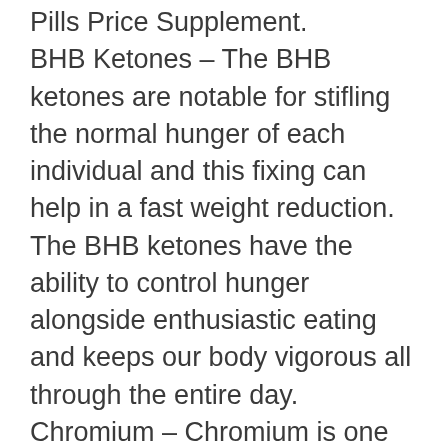Pills Price Supplement. BHB Ketones – The BHB ketones are notable for stifling the normal hunger of each individual and this fixing can help in a fast weight reduction. The BHB ketones have the ability to control hunger alongside enthusiastic eating and keeps our body vigorous all through the entire day. Chromium – Chromium is one of the significant elements of the item and it can help in boosting the ketosis interaction of our body and furthermore helps in controlling the carbs and other fat mixtures. Potassium – Potassium is one of the significant fixings that can help in